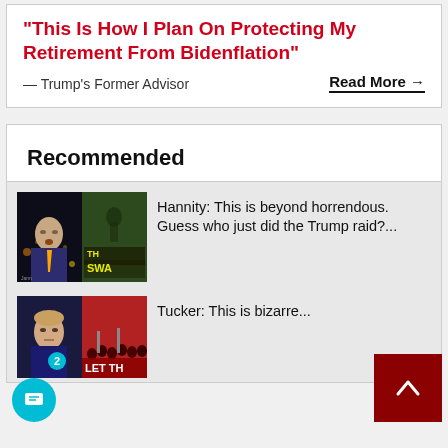"This Is How I Plan On Protecting My Retirement From Bidenflation"
— Trump's Former Advisor
Read More →
Recommended
[Figure (screenshot): Thumbnail showing Sean Hannity and a book cover 'THE SWAMP']
Hannity: This is beyond horrendous. Guess who just did the Trump raid?...
[Figure (screenshot): Thumbnail showing Tucker Carlson and a crowd scene with text 'LET TH']
Tucker: This is bizarre...